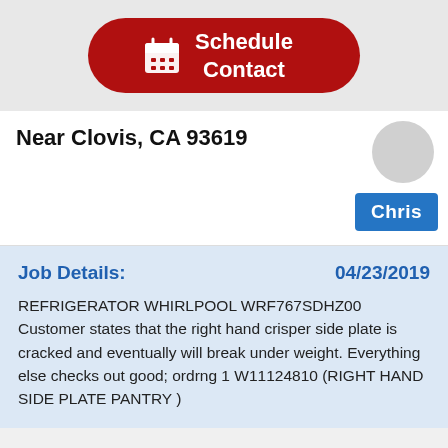[Figure (screenshot): Red pill-shaped button with calendar icon and white text 'Schedule Contact']
Near Clovis, CA 93619
Chris
Job Details:
04/23/2019
REFRIGERATOR WHIRLPOOL WRF767SDHZ00 Customer states that the right hand crisper side plate is cracked and eventually will break under weight. Everything else checks out good; ordrng 1 W11124810 (RIGHT HAND SIDE PLATE PANTRY )